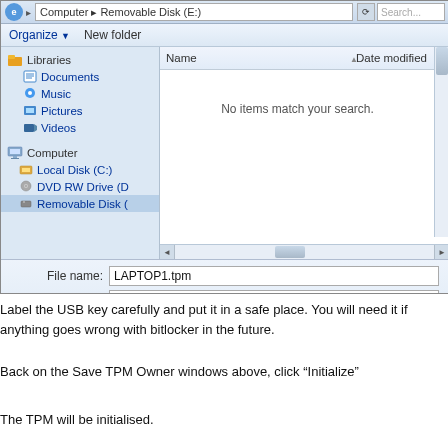[Figure (screenshot): Windows 7 Save As dialog box showing a file browser with Libraries (Documents, Music, Pictures, Videos) and Computer (Local Disk C, DVD RW Drive D, Removable Disk) in the sidebar. The main pane shows 'No items match your search.' The File name field shows 'LAPTOP1.tpm' and Save as type shows 'TPM Owner Password File (*.tpm)'. A Save button and Hide Folders option are visible.]
Label the USB key carefully and put it in a safe place. You will need it if anything goes wrong with bitlocker in the future.
Back on the Save TPM Owner windows above, click “Initialize”
The TPM will be initialised.